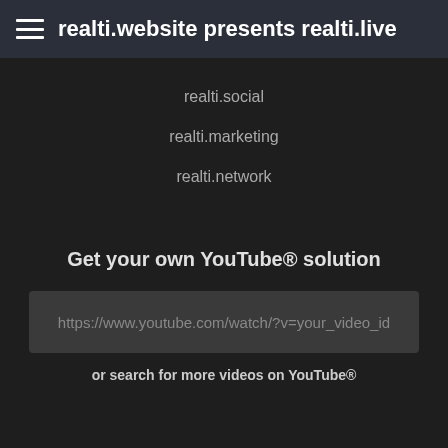realti.website presents realti.live
realti.social
realti.marketing
realti.network
Get your own YouTube® solution
https://www.youtube.com/watch/?v=your_video_id
or search for more videos on YouTube®